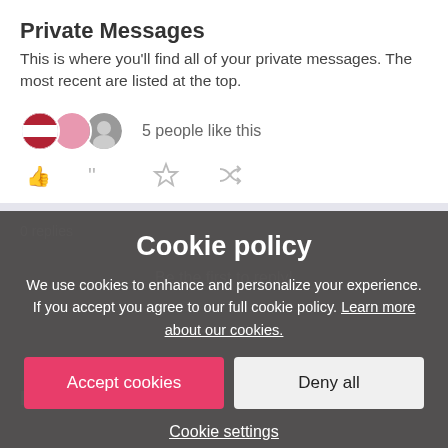Private Messages
This is where you'll find all of your private messages. The most recent are listed at the top.
5 people like this
[Figure (infographic): Cookie policy overlay with Accept cookies and Deny all buttons, and Cookie settings link]
0 replies
Be the first to reply!
Reply